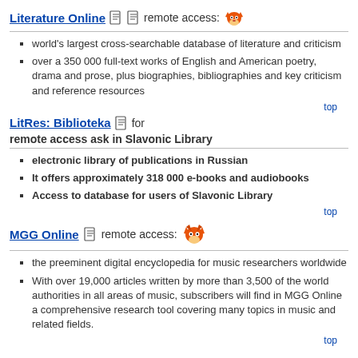Literature Online  remote access:
world's largest cross-searchable database of literature and criticism
over a 350 000 full-text works of English and American poetry, drama and prose, plus biographies, bibliographies and key criticism and reference resources
top
LitRes: Biblioteka  for remote access ask in Slavonic Library
electronic library of publications in Russian
It offers approximately 318 000 e-books and audiobooks
Access to database for users of Slavonic Library
top
MGG Online  remote access:
the preeminent digital encyclopedia for music researchers worldwide
With over 19,000 articles written by more than 3,500 of the world authorities in all areas of music, subscribers will find in MGG Online a comprehensive research tool covering many topics in music and related fields.
top